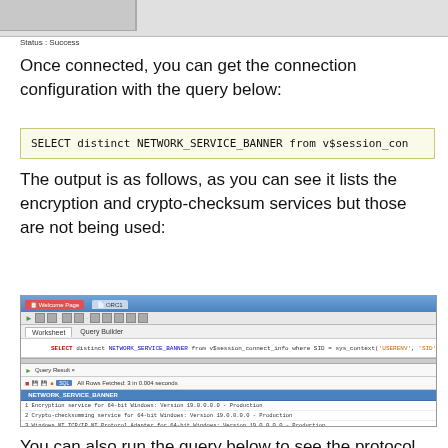[Figure (screenshot): Screenshot showing a success status bar with a split panel UI]
Status : Success
Once connected, you can get the connection configuration with the query below:
SELECT distinct NETWORK_SERVICE_BANNER from v$session_con
The output is as follows, as you can see it lists the encryption and crypto-checksum services but those are not being used:
[Figure (screenshot): SQL Developer screenshot showing query result with NETWORK_SERVICE_BANNER column listing: 1 Encryption service for 64-bit Windows: Version 19.0.0.0.0 - Production, 2 Crypto-checksumming service for 64-bit Windows: Version 19.0.0.0.0 - Production, 3 Windows NT TCP/IP NT Protocol Adapter for 64-bit Windows: Version 19.0.0.0.0 - Production]
You can also run the query below to see the protocol and